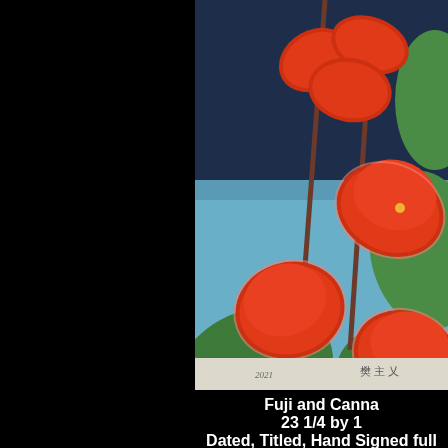[Figure (photo): A woodblock print artwork showing red canna flowers with green leaves against a dark blue and light blue background. The lower portion shows the paper margin with handwritten inscription '2021' and Japanese characters. The image is partially cropped on the left side with a black border.]
Fuji and Canna 23 1/4 by 1 Dated, Titled, Hand Signed full margins no SITE